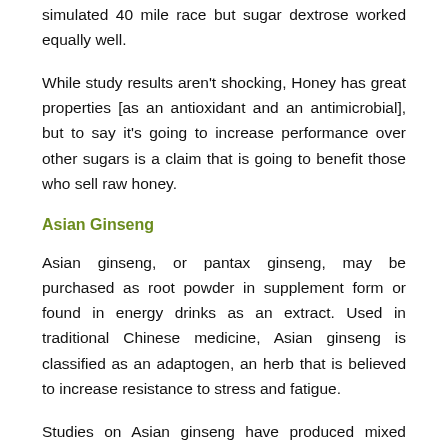simulated 40 mile race but sugar dextrose worked equally well.
While study results aren't shocking, Honey has great properties [as an antioxidant and an antimicrobial], but to say it's going to increase performance over other sugars is a claim that is going to benefit those who sell raw honey.
Asian Ginseng
Asian ginseng, or pantax ginseng, may be purchased as root powder in supplement form or found in energy drinks as an extract. Used in traditional Chinese medicine, Asian ginseng is classified as an adaptogen, an herb that is believed to increase resistance to stress and fatigue.
Studies on Asian ginseng have produced mixed results. Ginseng supplements may enhance athletic performance if taken long enough (more than 8 weeks) and in...